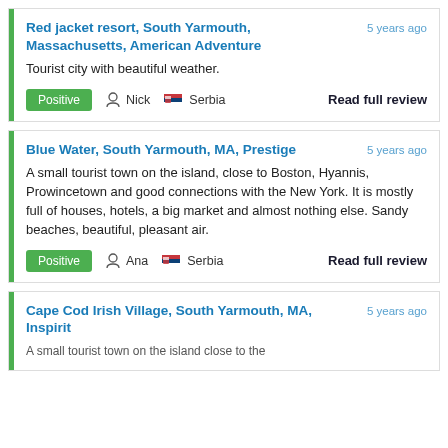Red jacket resort, South Yarmouth, Massachusetts, American Adventure
Tourist city with beautiful weather.
Positive  Nick  Serbia  Read full review  5 years ago
Blue Water, South Yarmouth, MA, Prestige
A small tourist town on the island, close to Boston, Hyannis, Prowincetown and good connections with the New York. It is mostly full of houses, hotels, a big market and almost nothing else. Sandy beaches, beautiful, pleasant air.
Positive  Ana  Serbia  Read full review  5 years ago
Cape Cod Irish Village, South Yarmouth, MA, Inspirit
5 years ago